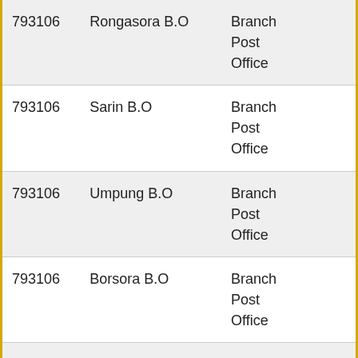| 793106 | Rongasora B.O | Branch Post Office |  |
| 793106 | Sarin B.O | Branch Post Office |  |
| 793106 | Umpung B.O | Branch Post Office |  |
| 793106 | Borsora B.O | Branch Post Office |  |
| 793106 | Gumaghat B.O | Branch Post Office |  |